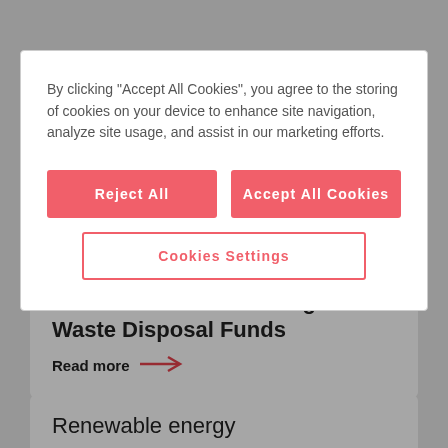[Figure (screenshot): Cookie consent modal dialog overlaying a webpage. The modal contains text about cookie usage, two filled red buttons ('Reject All' and 'Accept All Cookies'), and one outlined red button ('Cookies Settings'). Behind the modal are partially visible content cards including one with 'Waste Disposal Funds' title with 'Read more' link and arrow, and another card showing 'Renewable energy' text.]
By clicking “Accept All Cookies”, you agree to the storing of cookies on your device to enhance site navigation, analyze site usage, and assist in our marketing efforts.
Reject All
Accept All Cookies
Cookies Settings
for the Decommissioning and Waste Disposal Funds
Read more →
Renewable energy